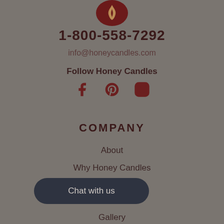[Figure (logo): Honey Candles logo: dark red circular emblem with flame/leaf motif]
1-800-558-7292
info@honeycandles.com
Follow Honey Candles
[Figure (other): Social media icons: Facebook, Pinterest, Instagram in dark red]
COMPANY
About
Why Honey Candles
Community
Reviews
Gallery
Chat with us